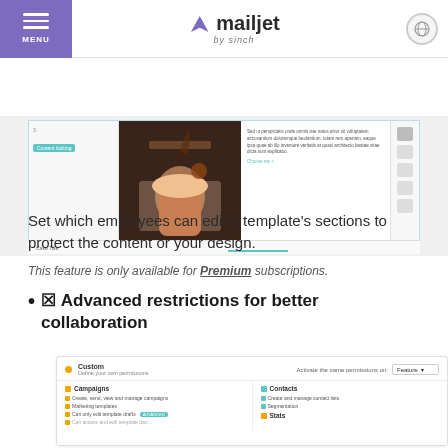MENU | mailjet by sinch
[Figure (screenshot): Mailjet email template editor screenshot showing a cake/hot chocolate image with lorem ipsum text and a 'Choose me' link, with editing controls on the right side. Bottom shows 'Cake Title' label.]
Set which employees can edit a template's sections to protect the content or your design.
This feature is only available for Premium subscriptions.
🔒 Advanced restrictions for better collaboration
[Figure (screenshot): Mailjet permissions settings panel showing 'Custom - Define your own permissions' with 'Activate the same permissions on: Feature' dropdown. Below are two columns: Campaigns (Create, send, view and manage campaigns; Marketing templates; Can only edit template drafts - ADVANCED tag) and Contacts (Create and manage contact lists; Segmentation). Partially visible Stats section.]